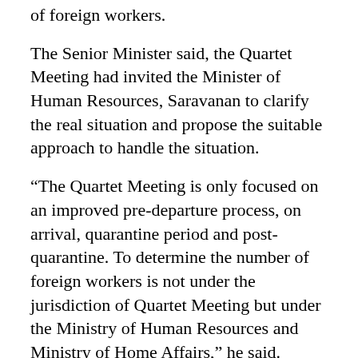of foreign workers.
The Senior Minister said, the Quartet Meeting had invited the Minister of Human Resources, Saravanan to clarify the real situation and propose the suitable approach to handle the situation.
“The Quartet Meeting is only focused on an improved pre-departure process, on arrival, quarantine period and post-quarantine. To determine the number of foreign workers is not under the jurisdiction of Quartet Meeting but under the Ministry of Human Resources and Ministry of Home Affairs,” he said.
Hishammuddin added, the new SOPs have been set and streamlined but it depends on the quota that is approved by the Joint Committee between Minister of Home Affairs and Minister of Human Resources.